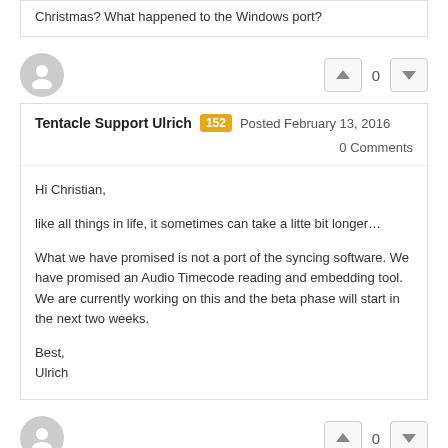Christmas? What happened to the Windows port?
Tentacle Support Ulrich 152 Posted February 13, 2016 0 Comments
Hi Christian,

like all things in life, it sometimes can take a litte bit longer…

What we have promised is not a port of the syncing software. We have promised an Audio Timecode reading and embedding tool. We are currently working on this and the beta phase will start in the next two weeks.

Best,
Ulrich
Christian Zorzi Posted February 13, 2016 0 Comments